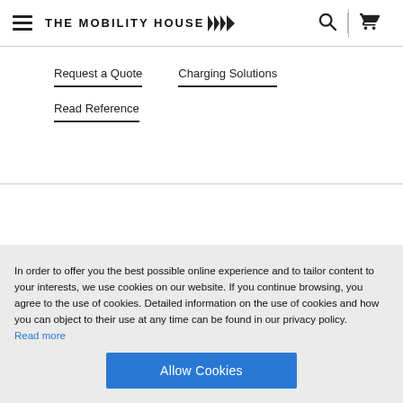THE MOBILITY HOUSE
Request a Quote
Charging Solutions
Read Reference
In order to offer you the best possible online experience and to tailor content to your interests, we use cookies on our website. If you continue browsing, you agree to the use of cookies. Detailed information on the use of cookies and how you can object to their use at any time can be found in our privacy policy.
Read more
Allow Cookies